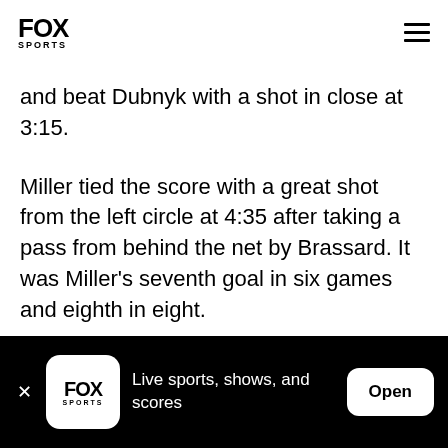FOX SPORTS
and beat Dubnyk with a shot in close at 3:15.
Miller tied the score with a great shot from the left circle at 4:35 after taking a pass from behind the net by Brassard. It was Miller's seventh goal in six games and eighth in eight.
Dubnyk kept the score tied in the next few minutes by stopping a rebound attempt in close from Oscar
Live sports, shows, and scores  Open